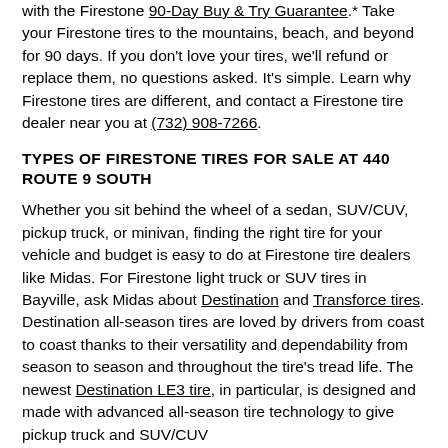with the Firestone 90-Day Buy & Try Guarantee.* Take your Firestone tires to the mountains, beach, and beyond for 90 days. If you don't love your tires, we'll refund or replace them, no questions asked. It's simple. Learn why Firestone tires are different, and contact a Firestone tire dealer near you at (732) 908-7266.
TYPES OF FIRESTONE TIRES FOR SALE AT 440 ROUTE 9 SOUTH
Whether you sit behind the wheel of a sedan, SUV/CUV, pickup truck, or minivan, finding the right tire for your vehicle and budget is easy to do at Firestone tire dealers like Midas. For Firestone light truck or SUV tires in Bayville, ask Midas about Destination and Transforce tires. Destination all-season tires are loved by drivers from coast to coast thanks to their versatility and dependability from season to season and throughout the tire's tread life. The newest Destination LE3 tire, in particular, is designed and made with advanced all-season tire technology to give pickup truck and SUV/CUV